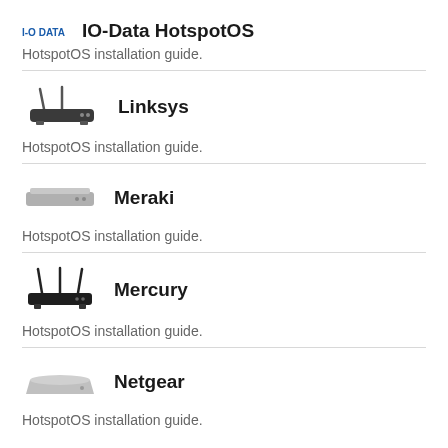IO-Data HotspotOS
HotspotOS installation guide.
Linksys
HotspotOS installation guide.
Meraki
HotspotOS installation guide.
Mercury
HotspotOS installation guide.
Netgear
HotspotOS installation guide.